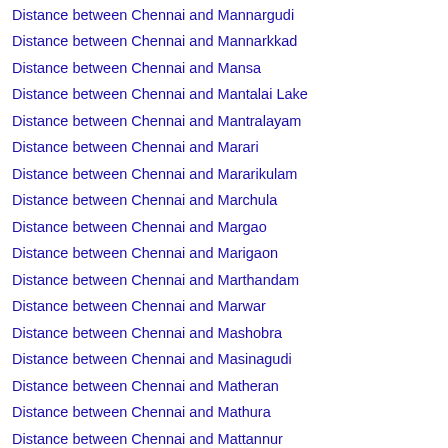Distance between Chennai and Mannargudi
Distance between Chennai and Mannarkkad
Distance between Chennai and Mansa
Distance between Chennai and Mantalai Lake
Distance between Chennai and Mantralayam
Distance between Chennai and Marari
Distance between Chennai and Mararikulam
Distance between Chennai and Marchula
Distance between Chennai and Margao
Distance between Chennai and Marigaon
Distance between Chennai and Marthandam
Distance between Chennai and Marwar
Distance between Chennai and Mashobra
Distance between Chennai and Masinagudi
Distance between Chennai and Matheran
Distance between Chennai and Mathura
Distance between Chennai and Mattannur
Distance between Chennai and Mau
Distance between Chennai and Mayabunder